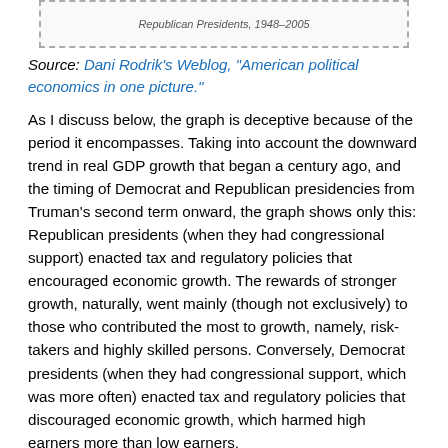[Figure (other): Top portion of a chart about Republican Presidents, 1948-2005, partially visible at top of page]
Source: Dani Rodrik's Weblog, "American political economics in one picture."
As I discuss below, the graph is deceptive because of the period it encompasses. Taking into account the downward trend in real GDP growth that began a century ago, and the timing of Democrat and Republican presidencies from Truman's second term onward, the graph shows only this: Republican presidents (when they had congressional support) enacted tax and regulatory policies that encouraged economic growth. The rewards of stronger growth, naturally, went mainly (though not exclusively) to those who contributed the most to growth, namely, risk-takers and highly skilled persons. Conversely, Democrat presidents (when they had congressional support, which was more often) enacted tax and regulatory policies that discouraged economic growth, which harmed high earners more than low earners.
Nor is this table conclusive of anything: